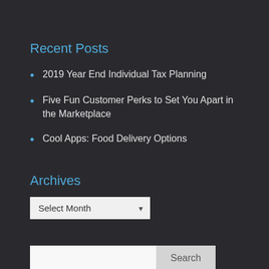Recent Posts
2019 Year End Individual Tax Planning
Five Fun Customer Perks to Set You Apart in the Marketplace
Cool Apps: Food Delivery Options
Archives
Select Month
Search